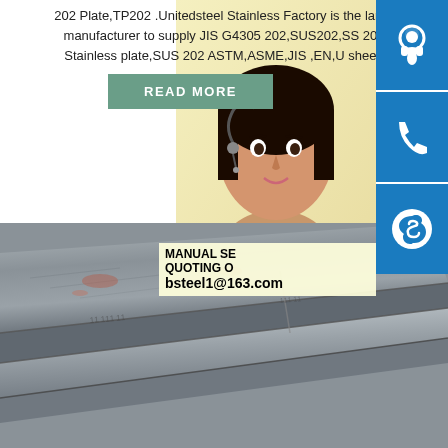202 Plate,TP202 .Unitedsteel Stainless Factory is the large manufacturer to supply JIS G4305 202,SUS202,SS 202 Stainless plate,SUS 202 ASTM,ASME,JIS ,EN,U sheet.
READ MORE
[Figure (photo): Woman with headset (customer service representative) with three blue icon buttons on the right: chat/headset icon, phone icon, Skype icon]
MANUAL SE... QUOTING O... bsteel1@163.com
[Figure (photo): Stack of stainless steel plates photographed from an angle, showing the surface texture and edges]